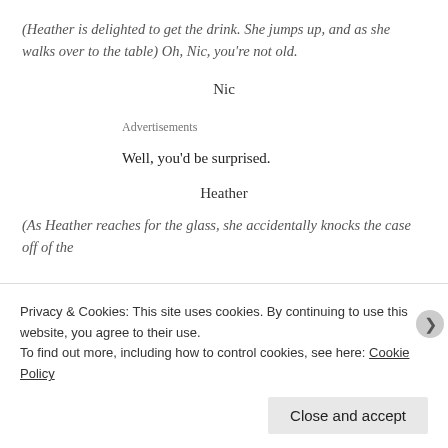(Heather is delighted to get the drink. She jumps up, and as she walks over to the table) Oh, Nic, you're not old.
Nic
Advertisements
Well, you'd be surprised.
Heather
(As Heather reaches for the glass, she accidentally knocks the case off of the
Privacy & Cookies: This site uses cookies. By continuing to use this website, you agree to their use.
To find out more, including how to control cookies, see here: Cookie Policy
Close and accept